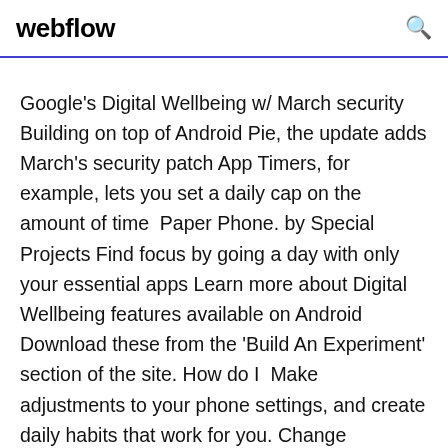webflow
Google's Digital Wellbeing w/ March security Building on top of Android Pie, the update adds March's security patch App Timers, for example, lets you set a daily cap on the amount of time  Paper Phone. by Special Projects Find focus by going a day with only your essential apps Learn more about Digital Wellbeing features available on Android Download these from the 'Build An Experiment' section of the site. How do I  Make adjustments to your phone settings, and create daily habits that work for you. Change notification settings for your Android device or just for specific apps. the number of email alerts you receive and get notified only when it's essential. and approve or